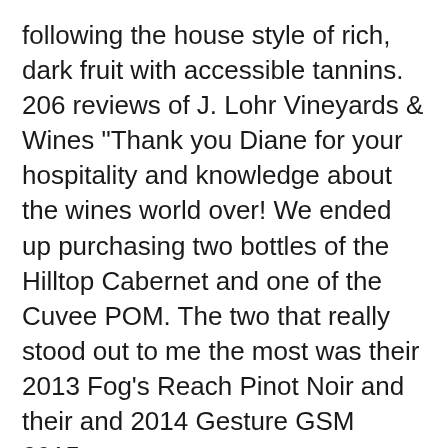following the house style of rich, dark fruit with accessible tannins. 206 reviews of J. Lohr Vineyards & Wines "Thank you Diane for your hospitality and knowledge about the wines world over! We ended up purchasing two bottles of the Hilltop Cabernet and one of the Cuvee POM. The two that really stood out to me the most was their 2013 Fog's Reach Pinot Noir and their and 2014 Gesture GSM 2015.
Average of 88.3 points in 29 community wine reviews on 2014 J. Lohr Cabernet Sauvignon Hilltop, plus professional notes, label images, wine details, and recommendations on when to drink. 03.02.2017 · J. Lohr 2014 Estates Los